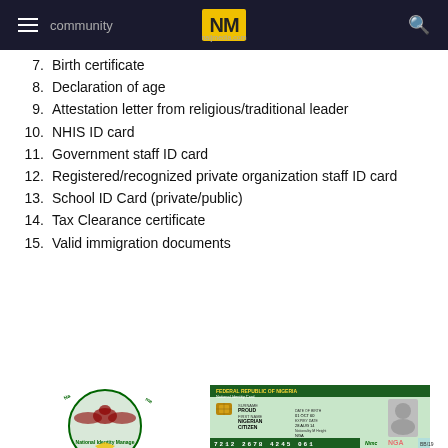community — NM naijmedia.com
7. Birth certificate
8. Declaration of age
9. Attestation letter from religious/traditional leader
10. NHIS ID card
11. Government staff ID card
12. Registered/recognized private organization staff ID card
13. School ID Card (private/public)
14. Tax Clearance certificate
15. Valid immigration documents
[Figure (logo): National Identity Management Commission (NIMC) circular logo with eagle emblem and green/gold text]
[Figure (photo): Federal Republic of Nigeria National Identity Card showing PROUD NIGERIAN CITIZEN text, chip, photo placeholder, card number 7212 2678 4245 061, NGA branding, date of birth 01 OCT 60, issue date 28 AUG 14, Nimc NGA logos]